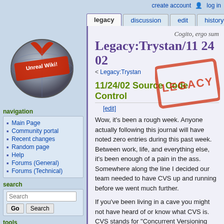create account  log in
legacy | discussion | edit | history
[Figure (logo): Unreal Wiki logo — metallic globe with red stamp reading 'Unreal Wiki!']
navigation
Main Page
Community portal
Recent changes
Random page
Help
Forums (General)
Forums (Technical)
search
tools
What links here
Related changes
Legacy:Trystan/11 24 02
Cogito, ergo sum
< Legacy:Trystan
11/24/02 Source Code Control
[edit]
Wow, it's been a rough week. Anyone actually following this journal will have noted zero entries during this past week. Between work, life, and everything else, it's been enough of a pain in the ass. Somewhere along the line I decided our team needed to have CVS up and running before we went much further.
If you've been living in a cave you might not have heard of or know what CVS is. CVS stands for "Concurrent Versioning System", or something to that effect. It's a SCCS, aka "Source Code Control System." (Ever notice that programmers screw themselves by giving everything strange names with no apparent